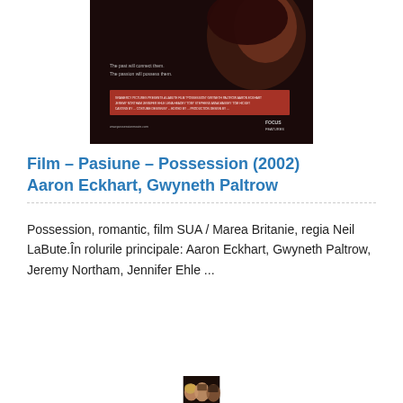[Figure (photo): Movie poster for Possession (2002) showing a woman's face in dark tones with film credits text]
Film – Pasiune – Possession (2002) Aaron Eckhart, Gwyneth Paltrow
Possession, romantic, film SUA / Marea Britanie, regia Neil LaBute.În rolurile principale: Aaron Eckhart, Gwyneth Paltrow, Jeremy Northam, Jennifer Ehle ...
Read More
[Figure (photo): Photo showing three actors' faces from a film — a woman with blonde hair and two men]